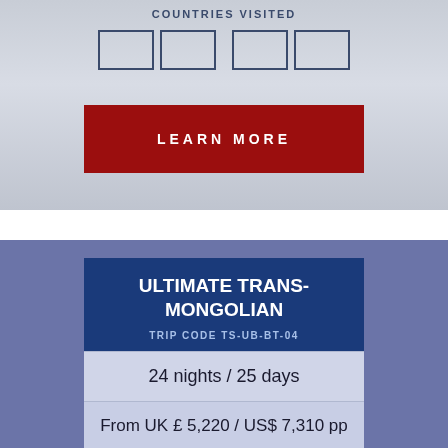COUNTRIES VISITED
[Figure (illustration): Two pairs of flag placeholder boxes (outlined rectangles representing country flags)]
LEARN MORE
ULTIMATE TRANS-MONGOLIAN
TRIP CODE TS-UB-BT-04
24 nights / 25 days
From UK £ 5,220 / US$ 7,310 pp